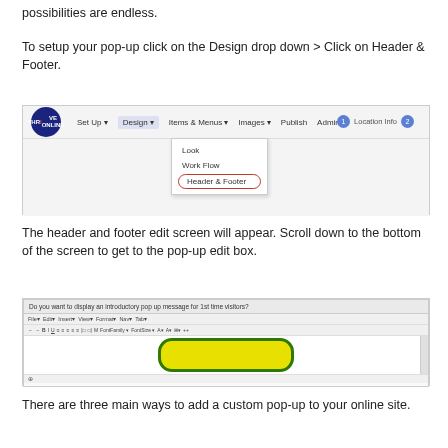possibilities are endless.
To setup your pop-up click on the Design drop down > Click on Header & Footer.
[Figure (screenshot): Screenshot of a website navigation bar showing the Design dropdown menu open with options: Look, Work Flow, and Header & Footer (highlighted with a red oval border). A Thrive Online logo is visible on the left. Navigation items include Set Up, Design, Items & Menus, Images, Publish, Admin. Right side shows Location Info badge.]
The header and footer edit screen will appear. Scroll down to the bottom of the screen to get to the pop-up edit box.
[Figure (screenshot): Screenshot of an editor interface showing a text editor with a toolbar. The question 'Do you want to display an introductory pop up message for 1st time visitors?' appears at the top. The editing area shows a yellow oval shape with a dark green border (a pop-up preview). A scrollbar is visible on the right.]
There are three main ways to add a custom pop-up to your online site.